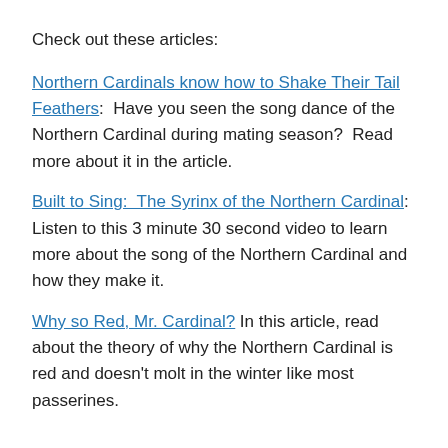Check out these articles:
Northern Cardinals know how to Shake Their Tail Feathers:  Have you seen the song dance of the Northern Cardinal during mating season?  Read more about it in the article.
Built to Sing:  The Syrinx of the Northern Cardinal:  Listen to this 3 minute 30 second video to learn more about the song of the Northern Cardinal and how they make it.
Why so Red, Mr. Cardinal? In this article, read about the theory of why the Northern Cardinal is red and doesn't molt in the winter like most passerines.